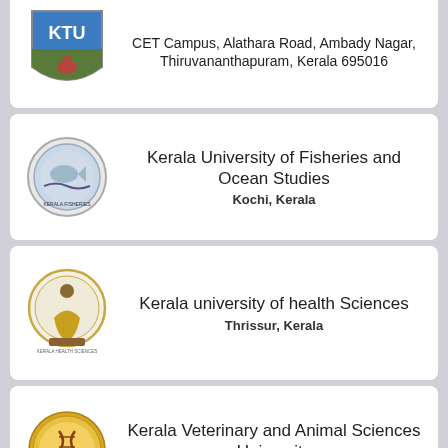[Figure (logo): Kerala Technological University (KTU) logo - blue shield with KTU text]
Kerala Technological University
CET Campus, Alathara Road, Ambady Nagar, Thiruvananthapuram, Kerala 695016
[Figure (logo): Kerala University of Fisheries and Ocean Studies circular seal]
Kerala University of Fisheries and Ocean Studies
Kochi, Kerala
[Figure (logo): Kerala University of Health Sciences circular seal]
Kerala university of health Sciences
Thrissur, Kerala
[Figure (logo): Kerala Veterinary and Animal Sciences University gold circular seal]
Kerala Veterinary and Animal Sciences University
Thiruvananthapuram, Kerala
[Figure (logo): Mahatma Gandhi University circular seal]
Mahatma Gandhi University, Kottayam
Kottayam, Kerala
[Figure (logo): National University of Advanced... circular seal (partial)]
National University of Advanced